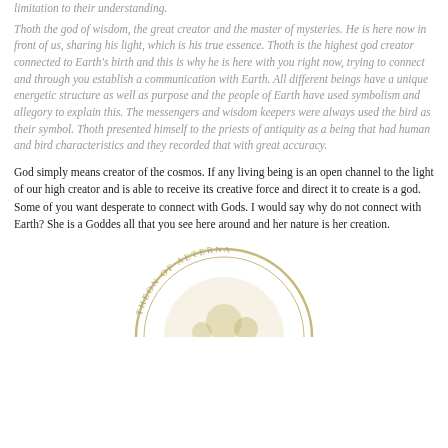limitation to their understanding.
Thoth the god of wisdom, the great creator and the master of mysteries. He is here now in front of us, sharing his light, which is his true essence. Thoth is the highest god creator connected to Earth's birth and this is why he is here with you right now, trying to connect and through you establish a communication with Earth. All different beings have a unique energetic structure as well as purpose and the people of Earth have used symbolism and allegory to explain this. The messengers and wisdom keepers were always used the bird as their symbol. Thoth presented himself to the priests of antiquity as a being that had human and bird characteristics and they recorded that with great accuracy.
God simply means creator of the cosmos. If any living being is an open channel to the light of our high creator and is able to receive its creative force and direct it to create is a god. Some of you want desperate to connect with Gods. I would say why do not connect with Earth? She is a Goddes all that you see here around and her nature is her creation.
[Figure (illustration): Partial circular emblem or seal with text reading 'THEON OF AETERNA' around the edge, with decorative imagery inside, only the top portion visible at bottom of page.]